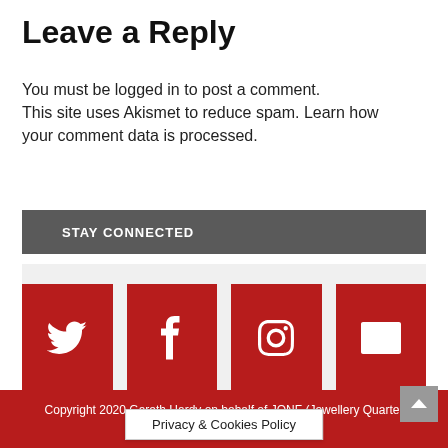Leave a Reply
You must be logged in to post a comment. This site uses Akismet to reduce spam. Learn how your comment data is processed.
STAY CONNECTED
[Figure (infographic): Four red social media icon buttons: Twitter (bird), Facebook (f), Instagram (camera), Email (envelope)]
Tweets by JQNF
Copyright 2020 Gareth Hardy on behalf of JQNF (Jewellery Quarter Nei...
Privacy & Cookies Policy